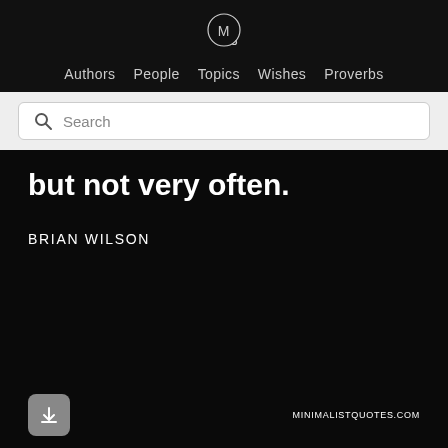[Figure (logo): Minimalist Quotes logo — circular outline with letter M inside, on dark background]
Authors  People  Topics  Wishes  Proverbs
Search
but not very often.
BRIAN WILSON
MINIMALISTQUOTES.COM